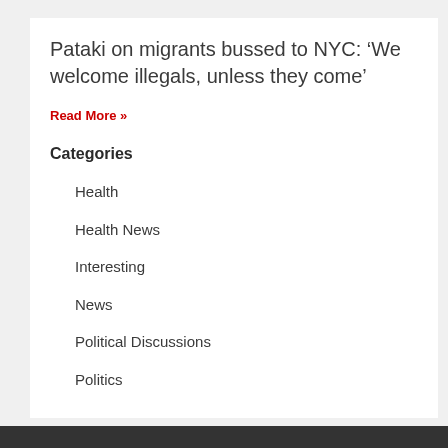Pataki on migrants bussed to NYC: ‘We welcome illegals, unless they come’
Read More »
Categories
Health
Health News
Interesting
News
Political Discussions
Politics